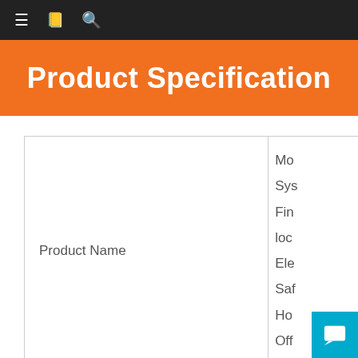≡  [icon]  🔍
Product Specification
|  |  |
| --- | --- |
| Product Name | Mo
Sys
Fin
loc
Ele
Saf
Ho
Off |
| Factory Brand | SH |
| Model No. | SJE |
| Lock Style | Ele
Bio
Mo |